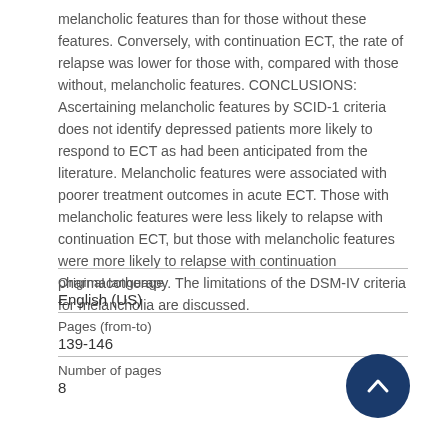melancholic features than for those without these features. Conversely, with continuation ECT, the rate of relapse was lower for those with, compared with those without, melancholic features. CONCLUSIONS: Ascertaining melancholic features by SCID-1 criteria does not identify depressed patients more likely to respond to ECT as had been anticipated from the literature. Melancholic features were associated with poorer treatment outcomes in acute ECT. Those with melancholic features were less likely to relapse with continuation ECT, but those with melancholic features were more likely to relapse with continuation pharmacotherapy. The limitations of the DSM-IV criteria for melancholia are discussed.
| Field | Value |
| --- | --- |
| Original language | English (US) |
| Pages (from-to) | 139-146 |
| Number of pages | 8 |